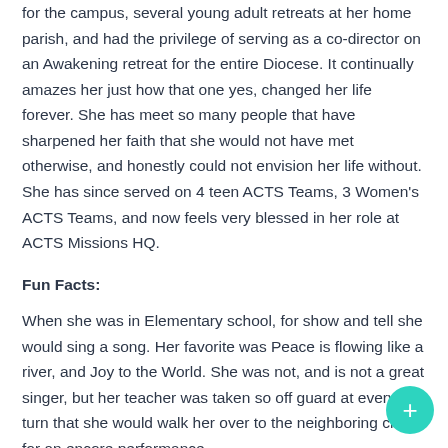for the campus, several young adult retreats at her home parish, and had the privilege of serving as a co-director on an Awakening retreat for the entire Diocese. It continually amazes her just how that one yes, changed her life forever. She has meet so many people that have sharpened her faith that she would not have met otherwise, and honestly could not envision her life without. She has since served on 4 teen ACTS Teams, 3 Women's ACTS Teams, and now feels very blessed in her role at ACTS Missions HQ.
Fun Facts:
When she was in Elementary school, for show and tell she would sing a song. Her favorite was Peace is flowing like a river, and Joy to the World. She was not, and is not a great singer, but her teacher was taken so off guard at every turn that she would walk her over to the neighboring class for an encore performance.